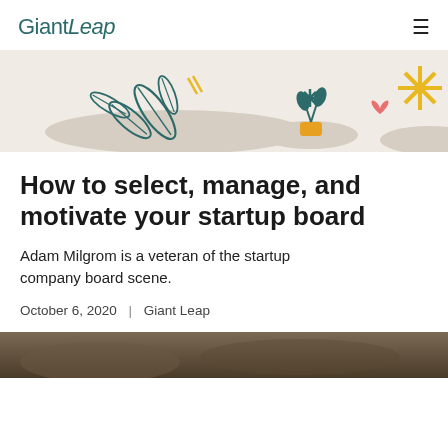GiantLeap
[Figure (illustration): Decorative banner illustration with feather/leaf shapes in teal, a small potted plant, a yellow star burst, a pink heart shape, and abstract beige blob shapes on a light beige background.]
How to select, manage, and motivate your startup board
Adam Milgrom is a veteran of the startup company board scene.
October 6, 2020  |  Giant Leap
[Figure (photo): Partial view of a photo at the bottom of the page, showing a dark greenish-brown outdoor scene, cropped.]